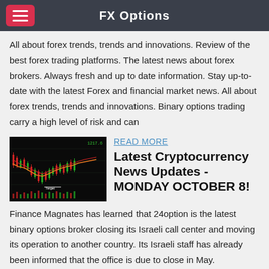FX Options
All about forex trends, trends and innovations. Review of the best forex trading platforms. The latest news about forex brokers. Always fresh and up to date information. Stay up-to-date with the latest Forex and financial market news. All about forex trends, trends and innovations. Binary options trading carry a high level of risk and can
[Figure (screenshot): Screenshot of a forex/cryptocurrency trading chart showing candlestick price action with moving average lines on a dark background.]
READ MORE
Latest Cryptocurrency News Updates - MONDAY OCTOBER 8!
Finance Magnates has learned that 24option is the latest binary options broker closing its Israeli call center and moving its operation to another country. Its Israeli staff has already been informed that the office is due to close in May.